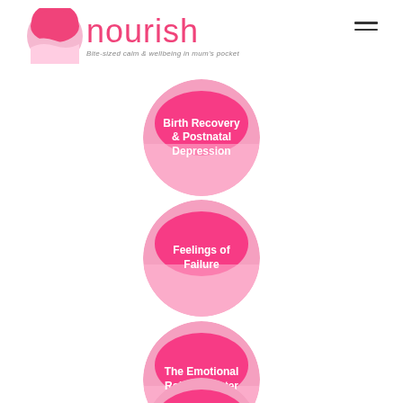[Figure (logo): Nourish app logo with pink circle and wave design, text 'nourish' in pink, tagline 'Bite-sized calm & wellbeing in mum's pocket']
[Figure (infographic): Pink circle button labeled 'Birth Recovery & Postnatal Depression']
[Figure (infographic): Pink circle button labeled 'Feelings of Failure']
[Figure (infographic): Pink circle button labeled 'The Emotional Roller Coaster']
[Figure (infographic): Partially visible pink circle button at bottom of page]